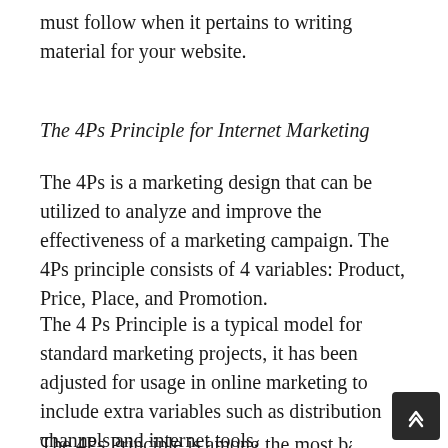must follow when it pertains to writing material for your website.
The 4Ps Principle for Internet Marketing
The 4Ps is a marketing design that can be utilized to analyze and improve the effectiveness of a marketing campaign. The 4Ps principle consists of 4 variables: Product, Price, Place, and Promotion.
The 4 Ps Principle is a typical model for standard marketing projects, it has been adjusted for usage in online marketing to include extra variables such as distribution channels and internet tools.
The 4Ps Principle is among the most basic marketing principles that you need to master in